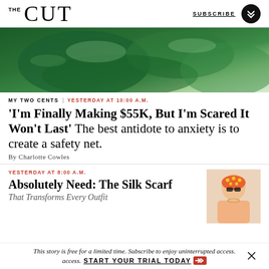THE CUT | SUBSCRIBE
[Figure (photo): Close-up photo of green glossy objects, likely green ceramic or lacquer items on a light background.]
MY TWO CENTS | YESTERDAY AT 10:00 A.M.
'I'm Finally Making $55K, But I'm Scared It Won't Last' The best antidote to anxiety is to create a safety net.
By Charlotte Cowles
YESTERDAY AT 8:00 A.M.
Absolutely Need: The Silk Scarf
[Figure (photo): Woman wearing sunglasses and a patterned scarf on her head.]
This story is free for a limited time. Subscribe to enjoy uninterrupted access. START YOUR TRIAL TODAY ❯❯